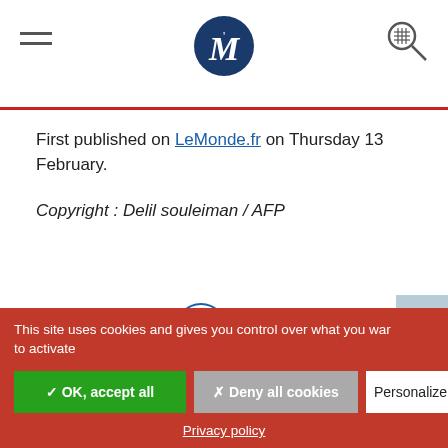Le Monde header with logo, menu, and search
First published on LeMonde.fr on Thursday 13 February.
Copyright : Delil souleiman / AFP
This site uses cookies and gives you control over what you want to activate
✓ OK, accept all
✗ Deny all cookies
Personalize
Privacy policy